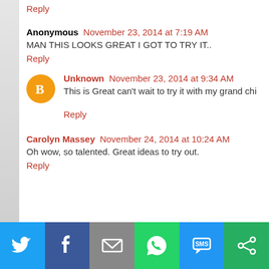Reply
Anonymous  November 23, 2014 at 7:19 AM
MAN THIS LOOKS GREAT I GOT TO TRY IT..
Reply
Unknown  November 23, 2014 at 9:34 AM
This is Great can't wait to try it with my grand chi
Reply
Carolyn Massey  November 24, 2014 at 10:24 AM
Oh wow, so talented. Great ideas to try out.
Reply